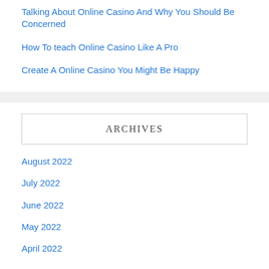Talking About Online Casino And Why You Should Be Concerned
How To teach Online Casino Like A Pro
Create A Online Casino You Might Be Happy
ARCHIVES
August 2022
July 2022
June 2022
May 2022
April 2022